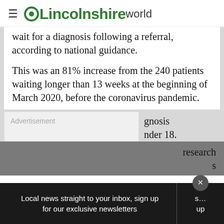Lincolnshire World
wait for a diagnosis following a referral, according to national guidance.
This was an 81% increase from the 240 patients waiting longer than 13 weeks at the beginning of March 2020, before the coronavirus pandemic.
Advertisement
...gnosis ...nder 18.
...research s...
Local news straight to your inbox, sign up for our exclusive newsletters